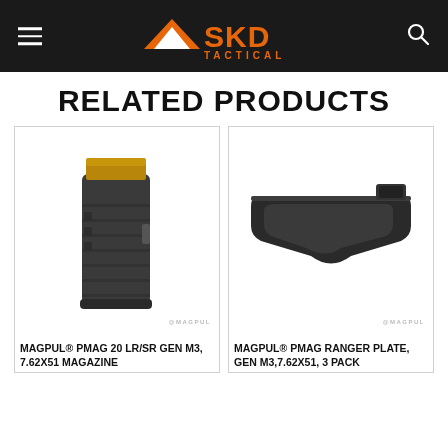SKD Tactical logo with hamburger menu and search icon
RELATED PRODUCTS
[Figure (photo): Magpul PMAG 20 LR/SR Gen M3 7.62x51 magazine in black, shown vertically with gold follower visible at top. Magpul watermark in lower right.]
MAGPUL® PMAG 20 LR/SR GEN M3, 7.62X51 MAGAZINE
[Figure (photo): Magpul PMAG Ranger Plate for Gen M3 7.62x51 in black, shown as a curved plate/handle accessory. Magpul watermark in lower right.]
MAGPUL® PMAG RANGER PLATE, GEN M3,7.62X51, 3 PACK